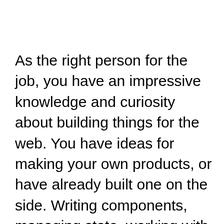As the right person for the job, you have an impressive knowledge and curiosity about building things for the web. You have ideas for making your own products, or have already built one on the side. Writing components, managing state, working with API's, and trying new tools are all part of your workflow. You read the documentation out of habit, and